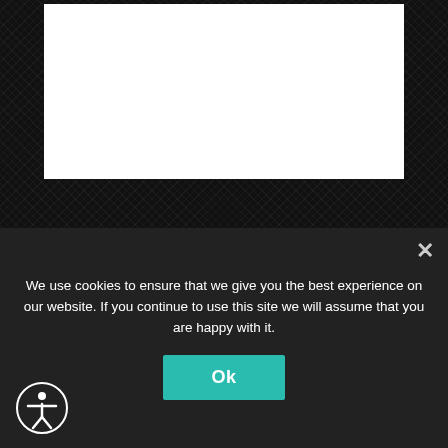[Figure (photo): Dark carbon-fiber textured background with a white rectangular display area in the upper portion]
[Figure (illustration): Silver/metallic gradient background section]
SHARE OUR WEBSITE ON SOCIAL
We use cookies to ensure that we give you the best experience on our website. If you continue to use this site we will assume that you are happy with it.
[Figure (other): Ok button (teal/turquoise) for cookie consent]
[Figure (other): Accessibility icon (circle with person figure), bottom left]